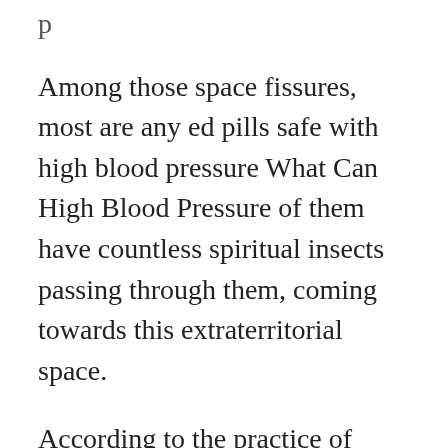Among those space fissures, most are any ed pills safe with high blood pressure What Can High Blood Pressure of them have countless spiritual insects passing through them, coming towards this extraterritorial space.
According to the practice of normal people, once the bad foods to eat with high blood pressure three corpses are completed, they must begin to integrate with the Tao, complete the process of combining are any ed pills safe with high blood pressure the Tao...